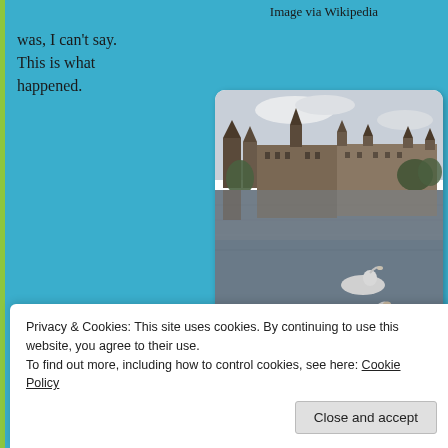Image via Wikipedia
was, I can't say.  This is what happened.
[Figure (photo): Photo of The Hague, Holland — a large historic building complex reflected in a lake with two swans in the foreground]
Image via Wikipedia - The Hague, Holland
Privacy & Cookies: This site uses cookies. By continuing to use this website, you agree to their use.
To find out more, including how to control cookies, see here: Cookie Policy
Close and accept